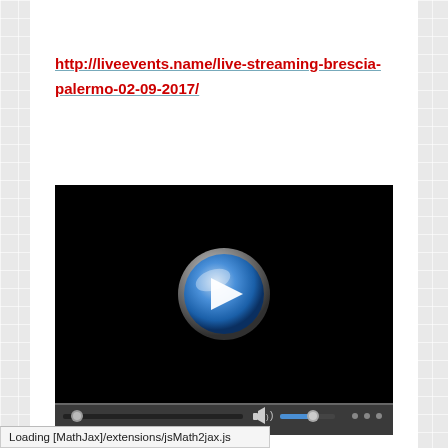http://liveevents.name/live-streaming-brescia-palermo-02-09-2017/
[Figure (screenshot): Embedded video player with black frame, a blue play button in the center, and a dark control bar at the bottom with progress and volume sliders.]
Loading [MathJax]/extensions/jsMath2jax.js